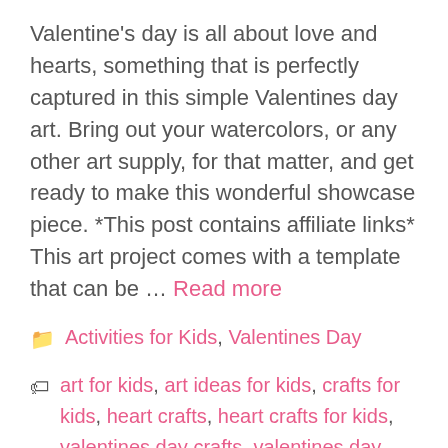Valentine's day is all about love and hearts, something that is perfectly captured in this simple Valentines day art. Bring out your watercolors, or any other art supply, for that matter, and get ready to make this wonderful showcase piece. *This post contains affiliate links* This art project comes with a template that can be … Read more
Categories: Activities for Kids, Valentines Day
Tags: art for kids, art ideas for kids, crafts for kids, heart crafts, heart crafts for kids, valentines day crafts, valentines day crafts